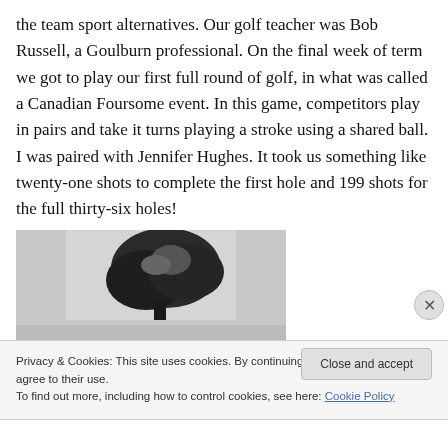the team sport alternatives. Our golf teacher was Bob Russell, a Goulburn professional. On the final week of term we got to play our first full round of golf, in what was called a Canadian Foursome event. In this game, competitors play in pairs and take it turns playing a stroke using a shared ball. I was paired with Jennifer Hughes. It took us something like twenty-one shots to complete the first hole and 199 shots for the full thirty-six holes!
[Figure (photo): A black and white photograph showing a dark tree or bush silhouette against a light background]
Privacy & Cookies: This site uses cookies. By continuing to use this website, you agree to their use.
To find out more, including how to control cookies, see here: Cookie Policy